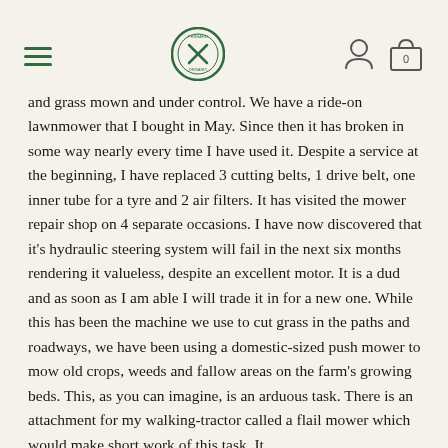Navigation header with hamburger menu, logo, user icon, and cart (0)
and grass mown and under control. We have a ride-on lawnmower that I bought in May. Since then it has broken in some way nearly every time I have used it. Despite a service at the beginning, I have replaced 3 cutting belts, 1 drive belt, one inner tube for a tyre and 2 air filters. It has visited the mower repair shop on 4 separate occasions. I have now discovered that it's hydraulic steering system will fail in the next six months rendering it valueless, despite an excellent motor. It is a dud and as soon as I am able I will trade it in for a new one. While this has been the machine we use to cut grass in the paths and roadways, we have been using a domestic-sized push mower to mow old crops, weeds and fallow areas on the farm's growing beds. This, as you can imagine, is an arduous task. There is an attachment for my walking-tractor called a flail mower which would make short work of this task. It